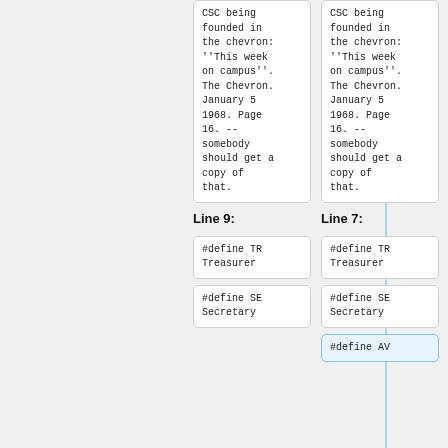CSC being founded in the chevron: ''This week on campus''. The Chevron. January 5 1968. Page 16. -- somebody should get a copy of that.
CSC being founded in the chevron: ''This week on campus''. The Chevron. January 5 1968. Page 16. -- somebody should get a copy of that.
Line 9:
Line 7:
#define TR Treasurer
#define TR Treasurer
#define SE Secretary
#define SE Secretary
#define AV